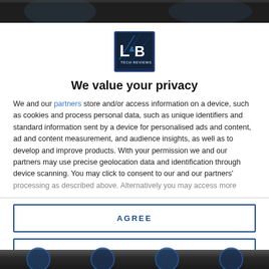[Figure (photo): Dark background image at top of page, partially visible]
[Figure (logo): L&B Tech Reviews logo - dark blue square with L&B letters and 'TECH REVIEWS' text]
We value your privacy
We and our partners store and/or access information on a device, such as cookies and process personal data, such as unique identifiers and standard information sent by a device for personalised ads and content, ad and content measurement, and audience insights, as well as to develop and improve products. With your permission we and our partners may use precise geolocation data and identification through device scanning. You may click to consent to our and our partners' processing as described above. Alternatively you may access more
AGREE
MORE OPTIONS
[Figure (photo): Dark background image at bottom of page with circular icon thumbnails visible]